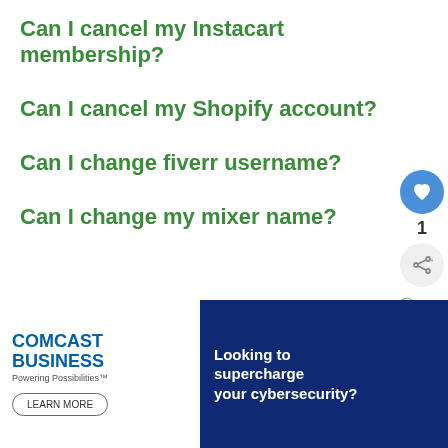Can I cancel my Instacart membership?
Can I cancel my Shopify account?
Can I change fiverr username?
Can I change my mixer name?
[Figure (screenshot): Sidebar UI with heart/like button (blue circle), count of 1, and share button]
[Figure (screenshot): What's Next box showing 'How To Delete An Uber Eat...' with thumbnail]
[Figure (screenshot): Comcast Business advertisement banner with 'Looking to supercharge your cybersecurity?' text and Learn More button]